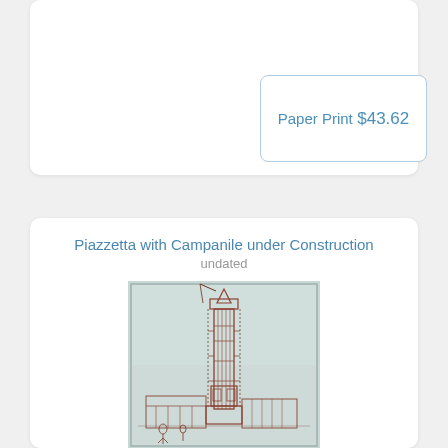Paper Print
$43.62
Piazzetta with Campanile under Construction
undated
[Figure (illustration): Architectural sketch/drawing of the Piazzetta with Campanile under Construction, rendered in reddish-brown ink on light blue-grey paper, showing a tall bell tower under construction with scaffolding and cranes.]